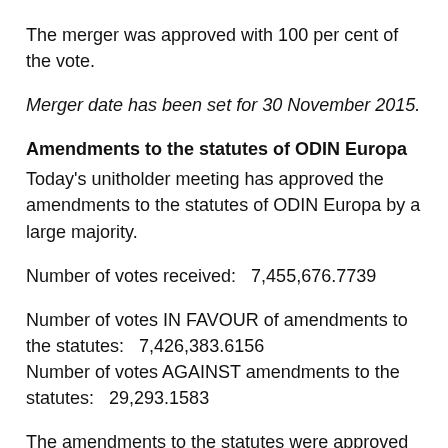The merger was approved with 100 per cent of the vote.
Merger date has been set for 30 November 2015.
Amendments to the statutes of ODIN Europa
Today's unitholder meeting has approved the amendments to the statutes of ODIN Europa by a large majority.
Number of votes received:   7,455,676.7739
Number of votes IN FAVOUR of amendments to the statutes:   7,426,383.6156
Number of votes AGAINST amendments to the statutes:   29,293.1583
The amendments to the statutes were approved with